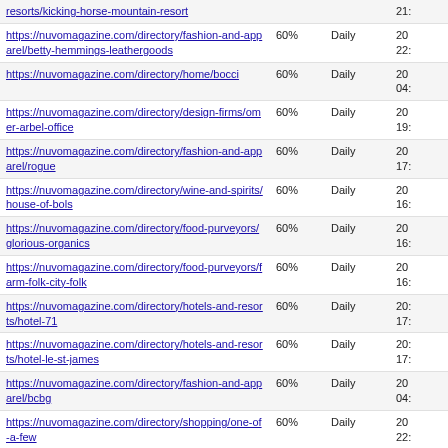| URL | Priority | Change Freq | Last Modified |
| --- | --- | --- | --- |
| https://nuvomagazine.com/directory/hotels-and-resorts/kicking-horse-mountain-resort |  |  | 21... |
| https://nuvomagazine.com/directory/fashion-and-apparel/betty-hemmings-leathergoods | 60% | Daily | 20 22:... |
| https://nuvomagazine.com/directory/home/bocci | 60% | Daily | 20 04:... |
| https://nuvomagazine.com/directory/design-firms/omer-arbel-office | 60% | Daily | 20 19:... |
| https://nuvomagazine.com/directory/fashion-and-apparel/rogue | 60% | Daily | 20 17:... |
| https://nuvomagazine.com/directory/wine-and-spirits/house-of-bols | 60% | Daily | 20 16:... |
| https://nuvomagazine.com/directory/food-purveyors/glorious-organics | 60% | Daily | 20 16:... |
| https://nuvomagazine.com/directory/food-purveyors/farm-folk-city-folk | 60% | Daily | 20 16:... |
| https://nuvomagazine.com/directory/hotels-and-resorts/hotel-71 | 60% | Daily | 20 17:... |
| https://nuvomagazine.com/directory/hotels-and-resorts/hotel-le-st-james | 60% | Daily | 20 17:... |
| https://nuvomagazine.com/directory/fashion-and-apparel/bcbg | 60% | Daily | 20 04:... |
| https://nuvomagazine.com/directory/shopping/one-of-a-few | 60% | Daily | 20 22:... |
| https://nuvomagazine.com/directory/hotels-and-resorts/wickaninnish-inn | 60% | Daily | 20 18:... |
| https://nuvomagazine.com/directory/%tax_type%/ray-ban | 60% | Daily | 20 23:... |
| https://nuvomagazine.com/directory/shopping/baccis | 60% | Daily | 20 23:... |
| https://nuvomagazine.com/directory/fashion-and-apparel/zara | 60% | Daily | 20 23:... |
| https://nuvomagazine.com/directory/fashion-and-apparel/... | 60% | Daily | 20... |